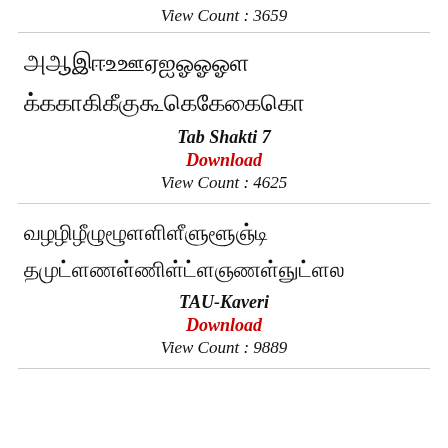View Count : 3659
[Figure (illustration): Tamil script font preview showing vowels and consonants in decorative Tamil font (Tab Shakti 7)]
Tab Shakti 7
Download
View Count : 4625
[Figure (illustration): Tamil script font preview showing consonants and combined characters in TAU-Kaveri font]
TAU-Kaveri
Download
View Count : 9889